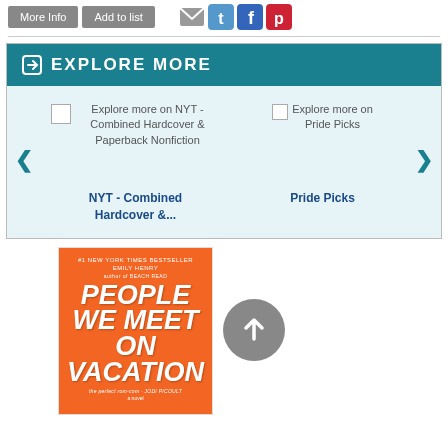[Figure (screenshot): Buttons 'More Info' and 'Add to list' with social sharing icons (email, Twitter, Facebook, Pinterest)]
EXPLORE MORE
[Figure (screenshot): Carousel showing 'Explore more on NYT - Combined Hardcover & Paperback Nonfiction' and 'Explore more on Pride Picks' with navigation arrows. Labels: NYT - Combined Hardcover &... and Pride Picks]
[Figure (photo): Book cover: People We Meet on Vacation by Emily Henry, orange cover with tropical imagery]